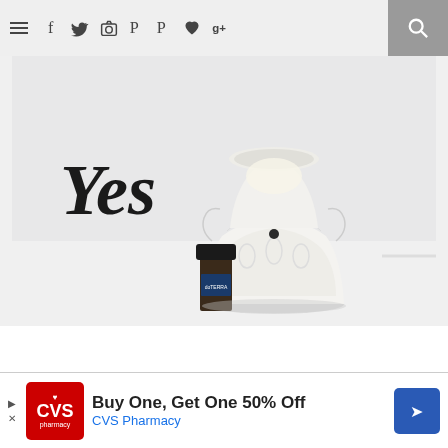[Figure (screenshot): Website navigation bar with hamburger menu icon, social media icons (Facebook, Twitter, Instagram, Pinterest, Pinterest, heart/Bloglovin, Google+), and a search button on the right in a gray box.]
[Figure (photo): Photo of a white ceramic oil burner/wax warmer with decorative floral relief design, with the word 'Yes' in cursive script on the left side, and a small dark bottle of doTERRA essential oil in the foreground on a white surface.]
[Figure (screenshot): CVS Pharmacy advertisement banner: 'Buy One, Get One 50% Off' with CVS Pharmacy logo on left and a blue diamond-shaped navigation arrow on the right.]